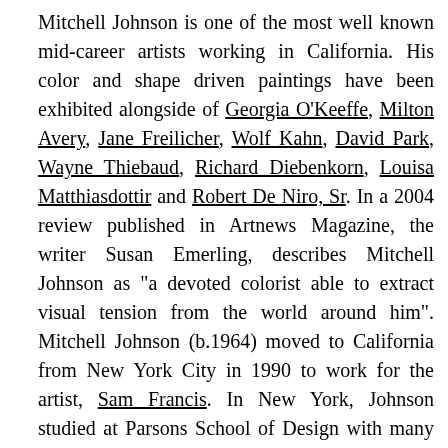Mitchell Johnson is one of the most well known mid-career artists working in California. His color and shape driven paintings have been exhibited alongside of Georgia O'Keeffe, Milton Avery, Jane Freilicher, Wolf Kahn, David Park, Wayne Thiebaud, Richard Diebenkorn, Louisa Matthiasdottir and Robert De Niro, Sr. In a 2004 review published in Artnews Magazine, the writer Susan Emerling, describes Mitchell Johnson as "a devoted colorist able to extract visual tension from the world around him". Mitchell Johnson (b.1964) moved to California from New York City in 1990 to work for the artist, Sam Francis. In New York, Johnson studied at Parsons School of Design with many former students of Hans Hofmann: Jane Freilicher, Leland Bell, Nell Blaine, Paul Resika, Larry Rivers and Robert De